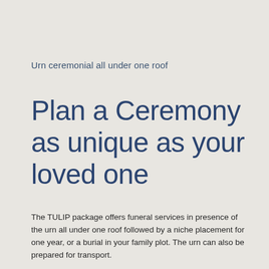Urn ceremonial all under one roof
Plan a Ceremony as unique as your loved one
The TULIP package offers funeral services in presence of the urn all under one roof followed by a niche placement for one year, or a burial in your family plot. The urn can also be prepared for transport.